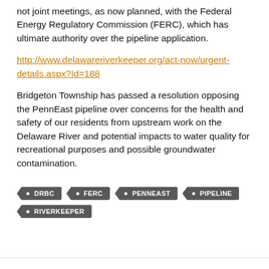not joint meetings, as now planned, with the Federal Energy Regulatory Commission (FERC), which has ultimate authority over the pipeline application.
http://www.delawareriverkeeper.org/act-now/urgent-details.aspx?Id=188
Bridgeton Township has passed a resolution opposing the PennEast pipeline over concerns for the health and safety of our residents from upstream work on the Delaware River and potential impacts to water quality for recreational purposes and possible groundwater contamination.
DRBC
FERC
PENNEAST
PIPELINE
RIVERKEEPER